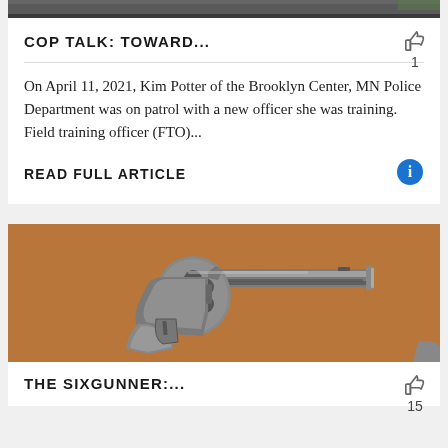[Figure (photo): Partial photo strip at the very top of the page showing a person's hand near a dark jacket — cropped, mostly cut off]
COP TALK: TOWARD...
On April 11, 2021, Kim Potter of the Brooklyn Center, MN Police Department was on patrol with a new officer she was training. Field training officer (FTO)...
READ FULL ARTICLE
[Figure (photo): Photograph of a silver/chrome revolver handgun lying on a brown leather surface, viewed from above at a slight angle]
THE SIXGUNNER:...